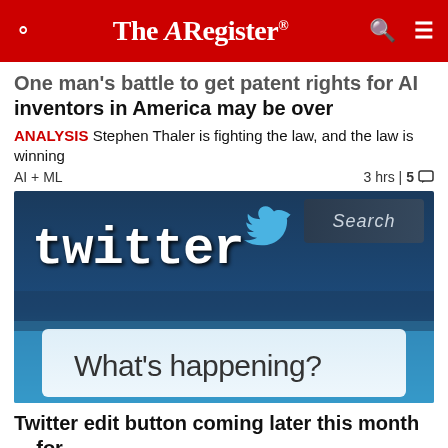The Register
One man's battle to get patent rights for AI inventors in America may be over
ANALYSIS Stephen Thaler is fighting the law, and the law is winning
AI + ML    3 hrs | 5
[Figure (photo): Close-up photograph of a screen showing the Twitter interface with the Twitter logo (bird icon) and 'What's happening?' text box visible, with a 'Search' button in the upper right.]
Twitter edit button coming later this month ... for